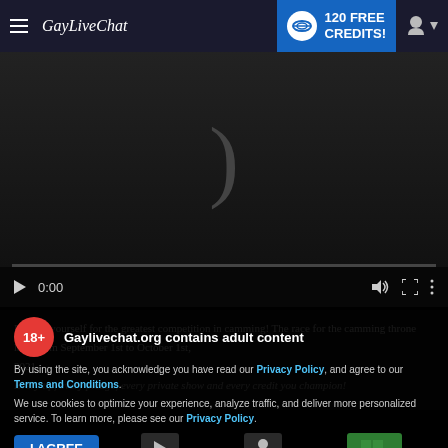GayLiveChat — 120 FREE CREDITS!
[Figure (screenshot): Video player with dark background showing a parenthesis character, playback controls showing 0:00 timestamp, volume, fullscreen, and menu icons]
Prepare yourself for the greatest competition in camming! The race for the camming throne lasts from September 1st to October 1st, 2021.
Gaylivechat.org contains adult content
By using the site, you acknowledge you have read our Privacy Policy, and agree to our Terms and Conditions.
We use cookies to optimize your experience, analyze traffic, and deliver more personalized service. To learn more, please see our Privacy Policy.
I AGREE